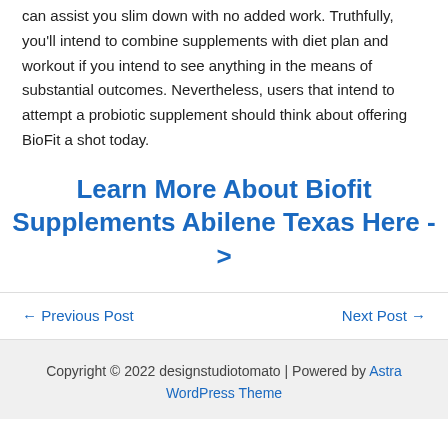can assist you slim down with no added work. Truthfully, you'll intend to combine supplements with diet plan and workout if you intend to see anything in the means of substantial outcomes. Nevertheless, users that intend to attempt a probiotic supplement should think about offering BioFit a shot today.
Learn More About Biofit Supplements Abilene Texas Here ->
← Previous Post
Next Post →
Copyright © 2022 designstudiotomato | Powered by Astra WordPress Theme